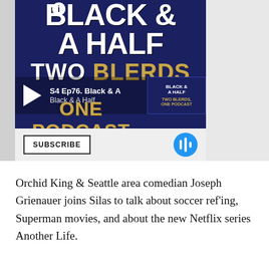[Figure (screenshot): Podcast player embed for 'Black & A Half - Two Blerds, One Podcast'. Shows episode S4 Ep76: Black & A Half with a play button, subscribe button, and podcast app icon. Dark navy background with white and gold text.]
Orchid King & Seattle area comedian Joseph Grienauer joins Silas to talk about soccer ref'ing, Superman movies, and about the new Netflix series Another Life.